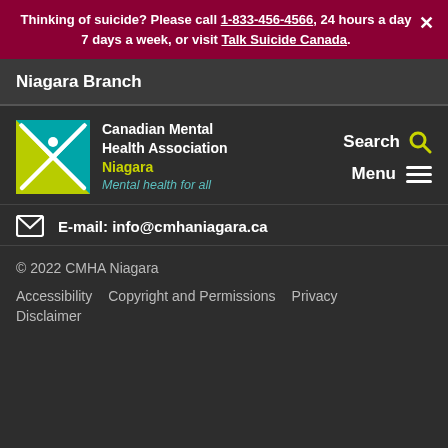Thinking of suicide? Please call 1-833-456-4566, 24 hours a day 7 days a week, or visit Talk Suicide Canada.
Niagara Branch
[Figure (logo): Canadian Mental Health Association Niagara logo — teal envelope/figure shape with yellow-green lower quadrant; text reads Canadian Mental Health Association, Niagara, Mental health for all]
Search
Menu
E-mail: info@cmhaniagara.ca
© 2022 CMHA Niagara
Accessibility   Copyright and Permissions   Privacy   Disclaimer